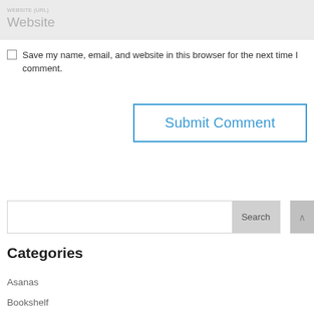Website
Save my name, email, and website in this browser for the next time I comment.
Submit Comment
Search
Categories
Asanas
Bookshelf